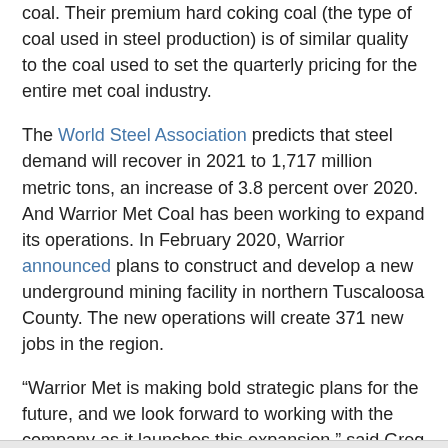coal. Their premium hard coking coal (the type of coal used in steel production) is of similar quality to the coal used to set the quarterly pricing for the entire met coal industry.
The World Steel Association predicts that steel demand will recover in 2021 to 1,717 million metric tons, an increase of 3.8 percent over 2020. And Warrior Met Coal has been working to expand its operations. In February 2020, Warrior announced plans to construct and develop a new underground mining facility in northern Tuscaloosa County. The new operations will create 371 new jobs in the region.
“Warrior Met is making bold strategic plans for the future, and we look forward to working with the company as it launches this expansion,” said Greg Canfield, secretary of the Alabama Department of Commerce.